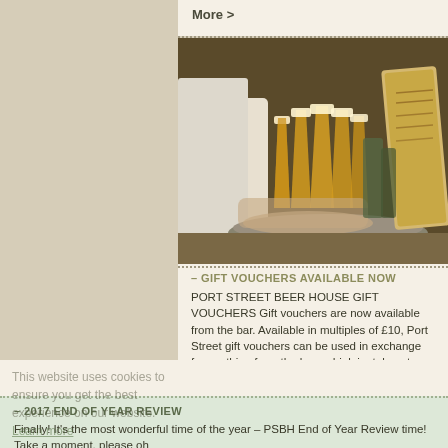More >
[Figure (photo): A bartender serving multiple glasses of golden beer on a tray, with a menu board visible on the right]
– GIFT VOUCHERS AVAILABLE NOW
PORT STREET BEER HOUSE GIFT VOUCHERS Gift vouchers are now available from the bar. Available in multiples of £10, Port Street gift vouchers can be used in exchange for anything from the bar – drink in, takeout bottles/cans, growlers, snacks galore. Terms and conditions apply. Vouchers must be used in….  More >
[Figure (photo): 3D red number 2017 on a light background]
– 2017 END OF YEAR REVIEW
Finally! It's the most wonderful time of the year – PSBH End of Year Review time! Take a moment, please oh
This website uses cookies to ensure you get the best experience on our website. Learn more